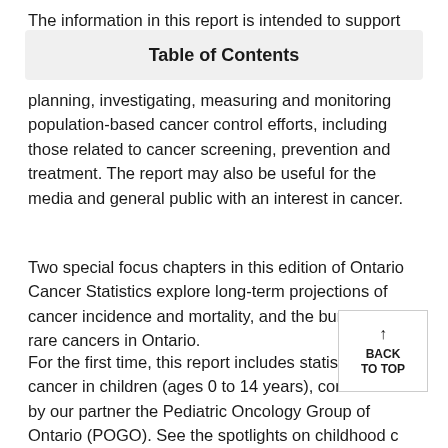The information in this report is intended to support
Table of Contents
planning, investigating, measuring and monitoring population-based cancer control efforts, including those related to cancer screening, prevention and treatment. The report may also be useful for the media and general public with an interest in cancer.
Two special focus chapters in this edition of Ontario Cancer Statistics explore long-term projections of cancer incidence and mortality, and the burden of rare cancers in Ontario.
For the first time, this report includes statistics about cancer in children (ages 0 to 14 years), contributed by our partner the Pediatric Oncology Group of Ontario (POGO). See the spotlights on childhood cancer in Chapter 5 (incidence), Chapter 6 (mortality) and Chapter 7 (survival).